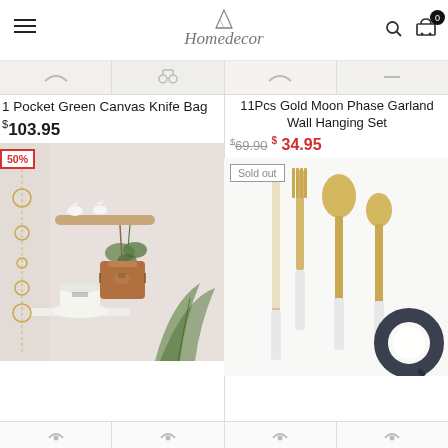Homedecor — navigation bar with hamburger menu, logo, search icon, cart (0)
1 Pocket Green Canvas Knife Bag
$103.95
11Pcs Gold Moon Phase Garland Wall Hanging Set
$69.90  $34.95
[Figure (photo): 50% sale badge. Photo of a wall-mounted bird branch hook holding a brown handbag, with a gold moon phase garland hanging nearby, a hat on a shelf, and tropical plant below.]
[Figure (photo): Sold out badge. Photo of gold and white cutlery set (knife, fork, spoon, dessert spoon) with a dark rope/strap accessory.]